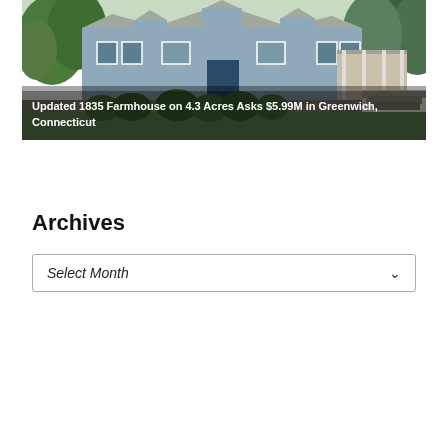[Figure (photo): Photograph of an updated 1835 farmhouse, a large colonial-style home with blue-grey siding, white trim, dark shutters, surrounded by lush green trees and landscaped lawn, with stone steps visible on the right.]
Updated 1835 Farmhouse on 4.3 Acres Asks $5.99M in Greenwich, Connecticut
Archives
Select Month